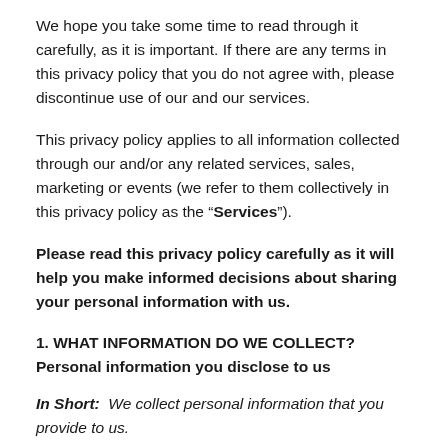We hope you take some time to read through it carefully, as it is important. If there are any terms in this privacy policy that you do not agree with, please discontinue use of our and our services.
This privacy policy applies to all information collected through our and/or any related services, sales, marketing or events (we refer to them collectively in this privacy policy as the “Services”).
Please read this privacy policy carefully as it will help you make informed decisions about sharing your personal information with us.
1. WHAT INFORMATION DO WE COLLECT?
Personal information you disclose to us
In Short:  We collect personal information that you provide to us.